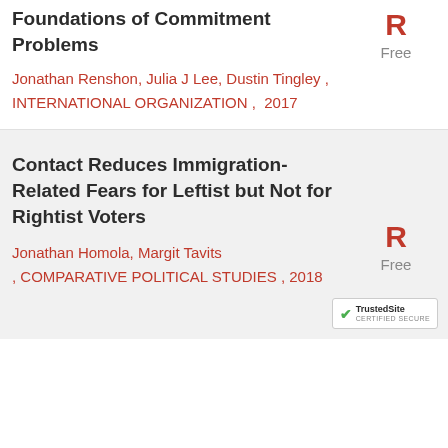Foundations of Commitment Problems
Jonathan Renshon, Julia J Lee, Dustin Tingley , INTERNATIONAL ORGANIZATION , 2017
Contact Reduces Immigration-Related Fears for Leftist but Not for Rightist Voters
Jonathan Homola, Margit Tavits , COMPARATIVE POLITICAL STUDIES , 2018